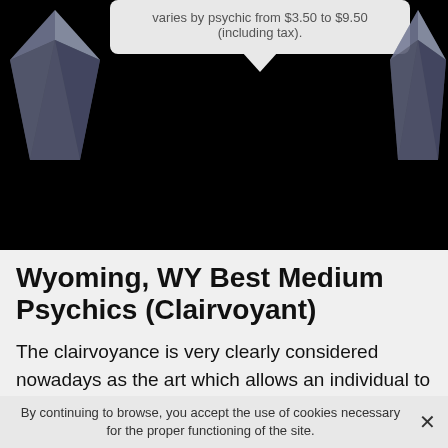[Figure (photo): Dark background image with decorative gem/crystal shapes on the left and right sides, and a light grey tooltip/speech bubble at the top containing pricing text.]
varies by psychic from $3.50 to $9.50 (including tax).
Wyoming, WY Best Medium Psychics (Clairvoyant)
The clairvoyance is very clearly considered nowadays as the art which allows an individual to project himself in his past, to better apprehend his present and to inquire about his future so that the key elements which escaped him are better dissected. The utilitarian aspect of this means of
By continuing to browse, you accept the use of cookies necessary for the proper functioning of the site.